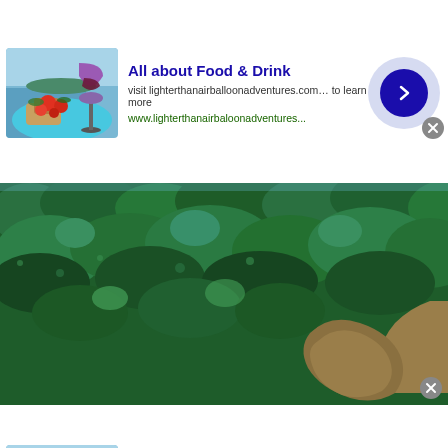[Figure (screenshot): Ad card top: thumbnail of food (wine glass and bruschetta) with 'All about Food & Drink' title, visit URL text, arrow button]
[Figure (photo): Aerial photograph of Amazon rainforest with winding river/oxbow lake]
[Figure (screenshot): Ad card bottom: same thumbnail of food with 'All about Food & Drink' title, visit URL text, arrow button]